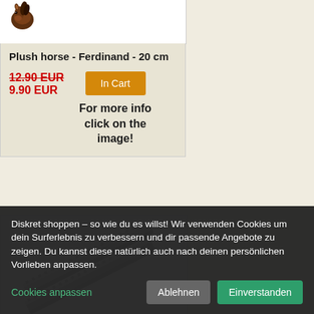[Figure (photo): Small brown plush horse toy image at top of product card]
Plush horse - Ferdinand - 20 cm
12.90 EUR 9.90 EUR
In Cart
For more info click on the image!
[Figure (photo): Two metallic flat bar/blade products shown diagonally]
Diskret shoppen – so wie du es willst! Wir verwenden Cookies um dein Surferlebnis zu verbessern und dir passende Angebote zu zeigen. Du kannst diese natürlich auch nach deinen persönlichen Vorlieben anpassen.
Cookies anpassen
Ablehnen
Einverstanden